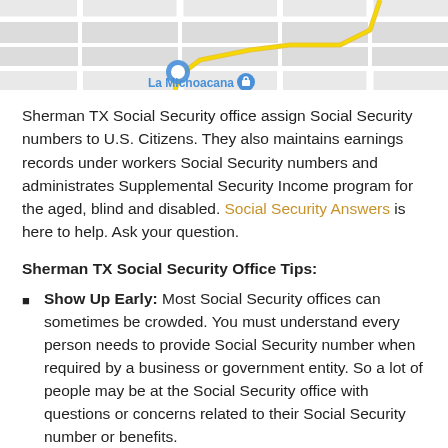[Figure (screenshot): Google Maps screenshot showing a street map area with 'La Michoacana' label, a blue location pin, a yellow route line, and a gray map pin at upper right.]
Sherman TX Social Security office assign Social Security numbers to U.S. Citizens. They also maintains earnings records under workers Social Security numbers and administrates Supplemental Security Income program for the aged, blind and disabled. Social Security Answers is here to help. Ask your question.
Sherman TX Social Security Office Tips:
Show Up Early: Most Social Security offices can sometimes be crowded. You must understand every person needs to provide Social Security number when required by a business or government entity. So a lot of people may be at the Social Security office with questions or concerns related to their Social Security number or benefits.
Be prepared to wait: With lots of people at your local Social Security office, if you are late you may have